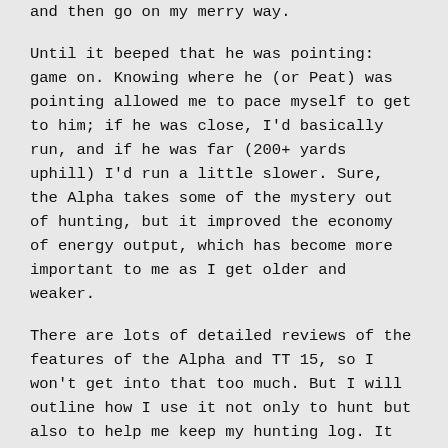and then go on my merry way.
Until it beeped that he was pointing: game on. Knowing where he (or Peat) was pointing allowed me to pace myself to get to him; if he was close, I’d basically run, and if he was far (200+ yards uphill) I’d run a little slower. Sure, the Alpha takes some of the mystery out of hunting, but it improved the economy of energy output, which has become more important to me as I get older and weaker.
There are lots of detailed reviews of the features of the Alpha and TT 15, so I won’t get into that too much. But I will outline how I use it not only to hunt but also to help me keep my hunting log. It took me a while to figure out my process and what settings to change so I could manage the data to my liking, so I’ll go through that here; if someone has a better idea, I’d love to hear it (I spent a fair amount of time